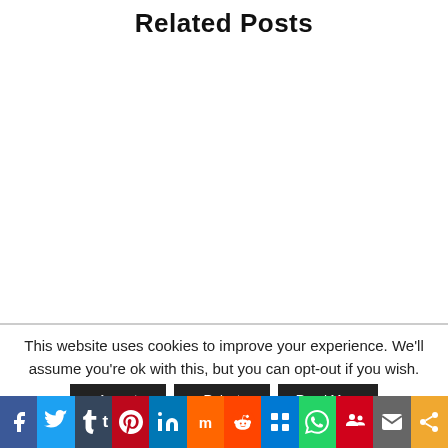Related Posts
This website uses cookies to improve your experience. We'll assume you're ok with this, but you can opt-out if you wish.
[Figure (infographic): Social media share bar with icons: Facebook (f), Twitter, Tumblr (t), Pinterest, LinkedIn (in), Mix (m), Reddit, Digg, WhatsApp, Myspace, Email, Share]